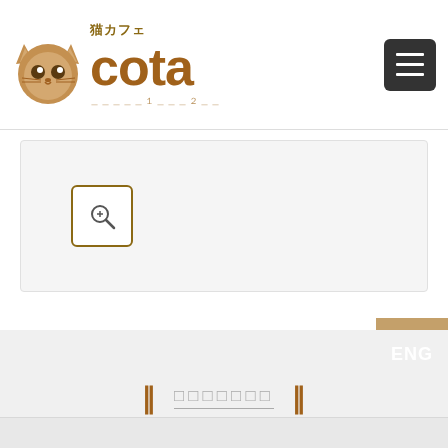[Figure (logo): Cat cafe Cota logo with cat face icon and Japanese text 猫カフェ above stylized text 'cota']
[Figure (screenshot): Gray content area with a magnifier/zoom button in the lower left]
[Figure (infographic): ENG language toggle button with paw print background in brown/tan color]
‖  □□□□□□□  ‖